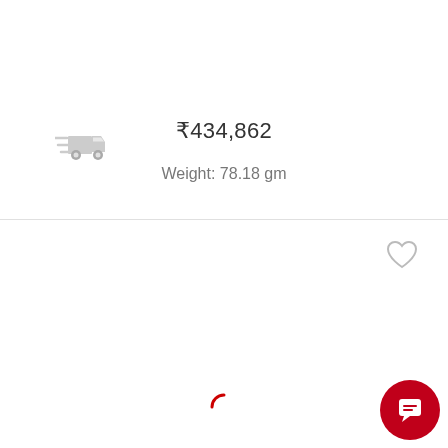[Figure (screenshot): Delivery truck icon (grey, fast delivery symbol)]
₹434,862
Weight: 78.18 gm
[Figure (icon): Heart/wishlist icon (grey outline)]
[Figure (icon): Loading spinner (red partial circle)]
[Figure (icon): Chat/support button (red circle with speech bubble icon)]